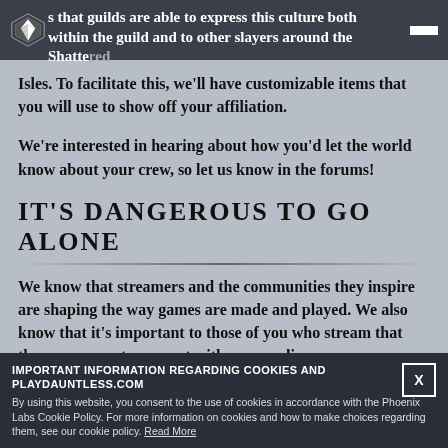that guilds are able to express this culture both within the guild and to other slayers around the Shattered Isles.
To facilitate this, we'll have customizable items that you will use to show off your affiliation.
We're interested in hearing about how you'd let the world know about your crew, so let us know in the forums!
IT'S DANGEROUS TO GO ALONE
We know that streamers and the communities they inspire are shaping the way games are made and played. We also know that it's important to those of you who stream that there are ways to connect with your audiences.
To this end, we're planning innovative guild features for their guild's streaming community.
IMPORTANT INFORMATION REGARDING COOKIES AND PLAYDAUNTLESS.COM
By using this website, you consent to the use of cookies in accordance with the Phoenix Labs Cookie Policy. For more information on cookies and how to make choices regarding them, see our cookie policy. Read More